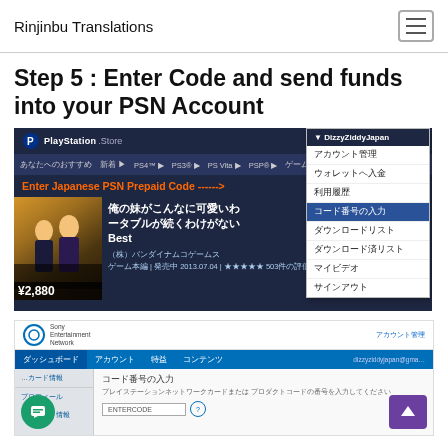Rinjinbu Translations
Step 5 : Enter Code and send funds into your PSN Account
[Figure (screenshot): PlayStation Store screenshot showing a dropdown menu with 'コード番号の入力' highlighted, and an anime game listing for ¥2,880 with an orange banner reading 'Enter Japanese PSN Prepaid Code ------->'. User dropdown shows options: アカウント管理, ウォレットへ入金, 利用履歴, コード番号の入力, ダウンロードリスト, ダウンロード済リスト, マイビデオ, サインアウト.]
[Figure (screenshot): Sony Entertainment Network account page showing the code entry form (コード番号の入力) with an ENTERCODE input field and help icon. Navigation shows dashboard, account, benefits, and content sections.]